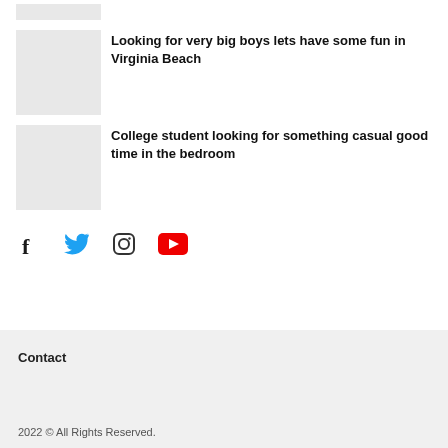[Figure (other): Thumbnail image placeholder (gray box) for first article (stub at top)]
[Figure (other): Thumbnail image placeholder (gray box) for article: Looking for very big boys lets have some fun in Virginia Beach]
Looking for very big boys lets have some fun in Virginia Beach
[Figure (other): Thumbnail image placeholder (gray box) for article: College student looking for something casual good time in the bedroom]
College student looking for something casual good time in the bedroom
[Figure (other): Social media icons row: Facebook, Twitter, Instagram, YouTube]
Contact
2022 © All Rights Reserved.